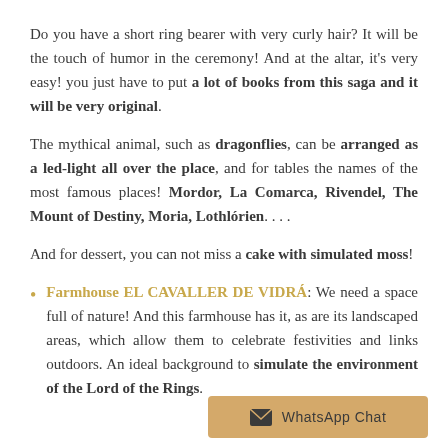Do you have a short ring bearer with very curly hair? It will be the touch of humor in the ceremony! And at the altar, it's very easy! you just have to put a lot of books from this saga and it will be very original.
The mythical animal, such as dragonflies, can be arranged as a led-light all over the place, and for tables the names of the most famous places! Mordor, La Comarca, Rivendel, The Mount of Destiny, Moria, Lothlórien....
And for dessert, you can not miss a cake with simulated moss!
Farmhouse EL CAVALLER DE VIDRÁ: We need a space full of nature! And this farmhouse has it, as are its landscaped areas, which allow them to celebrate festivities and links outdoors. An ideal background to simulate the environment of the Lord of the Rings.